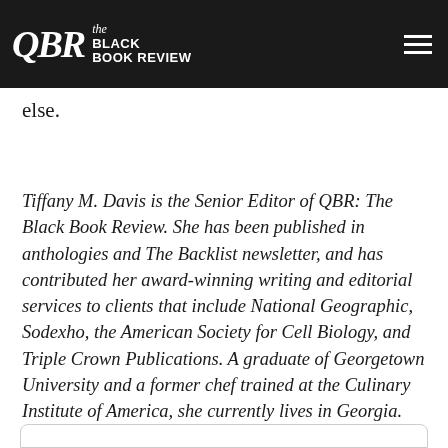QBR the Black Book Review
followers on Twitter and other social media could love this book, but this reviewer would not recommend it to anyone else.
Tiffany M. Davis is the Senior Editor of QBR: The Black Book Review. She has been published in anthologies and The Backlist newsletter, and has contributed her award-winning writing and editorial services to clients that include National Geographic, Sodexho, the American Society for Cell Biology, and Triple Crown Publications. A graduate of Georgetown University and a former chef trained at the Culinary Institute of America, she currently lives in Georgia.